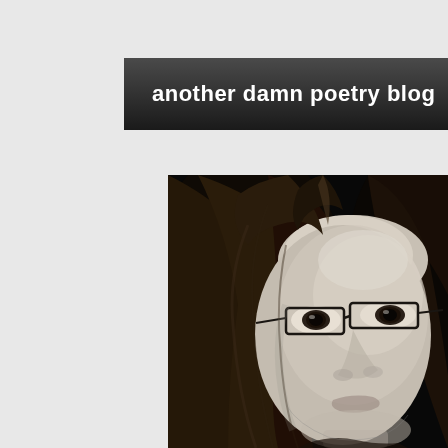another damn poetry blog
[Figure (photo): Black and white close-up portrait of a woman with long dark hair wearing thin rectangular glasses, looking slightly to the side with a neutral expression]